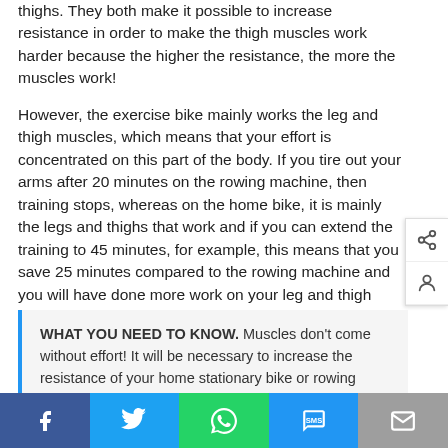thighs. They both make it possible to increase resistance in order to make the thigh muscles work harder because the higher the resistance, the more the muscles work!
However, the exercise bike mainly works the leg and thigh muscles, which means that your effort is concentrated on this part of the body. If you tire out your arms after 20 minutes on the rowing machine, then training stops, whereas on the home bike, it is mainly the legs and thighs that work and if you can extend the training to 45 minutes, for example, this means that you save 25 minutes compared to the rowing machine and you will have done more work on your leg and thigh muscles.
WHAT YOU NEED TO KNOW. Muscles don't come without effort! It will be necessary to increase the resistance of your home stationary bike or rowing machine if you want to work out your muscles and tone...